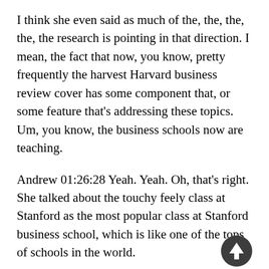I think she even said as much of the, the, the, the, the research is pointing in that direction. I mean, the fact that now, you know, pretty frequently the harvest Harvard business review cover has some component that, or some feature that's addressing these topics. Um, you know, the business schools now are teaching.
Andrew 01:26:28 Yeah. Yeah. Oh, that's right. She talked about the touchy feely class at Stanford as the most popular class at Stanford business school, which is like one of the tops of schools in the world.
Darik 01:26:36 Right, exactly. Um, uh, before I